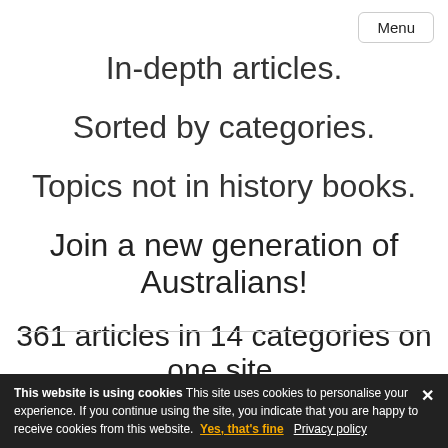Menu
In-depth articles.
Sorted by categories.
Topics not in history books.
Join a new generation of Australians!
361 articles in 14 categories on one site.
Explore culture
This website is using cookies This site uses cookies to personalise your experience. If you continue using the site, you indicate that you are happy to receive cookies from this website. Yes, that's fine Privacy policy